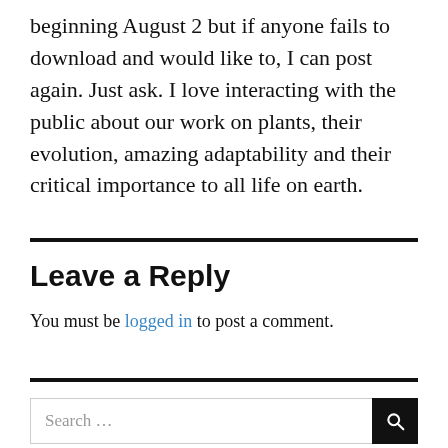beginning August 2 but if anyone fails to download and would like to, I can post again. Just ask. I love interacting with the public about our work on plants, their evolution, amazing adaptability and their critical importance to all life on earth.
Leave a Reply
You must be logged in to post a comment.